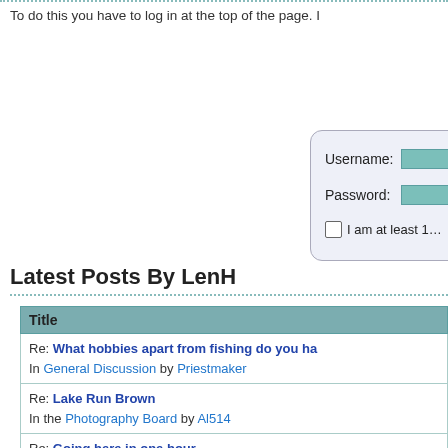To do this you have to log in at the top of the page. I
[Figure (screenshot): Login form with Username and Password fields and a checkbox labeled 'I am at least 1...']
Latest Posts By LenH
| Title |
| --- |
| Re: What hobbies apart from fishing do you ha... In General Discussion by Priestmaker |
| Re: Lake Run Brown In the Photography Board by Al514 |
| Re: Going here in one hour In the Photography Board by LenH |